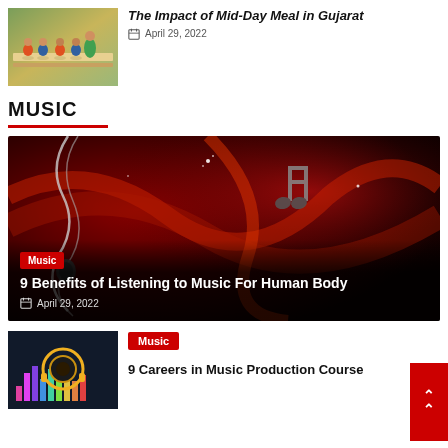[Figure (photo): Thumbnail image of school children sitting at tables with food plates, mid-day meal scene in Gujarat]
The Impact of Mid-Day Meal in Gujarat
April 29, 2022
MUSIC
[Figure (photo): Large featured image with dark red/black background showing floating musical notes and headphone cord swirling in red smoke, with Music badge and article title overlay]
Music
9 Benefits of Listening to Music For Human Body
April 29, 2022
[Figure (photo): Thumbnail image showing colorful equalizer bars and music production concept on dark background]
Music
9 Careers in Music Production Course